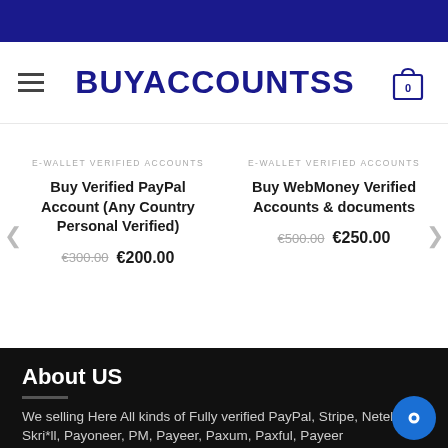BUYACCOUNTSS
E-WALLET VERIFIED ACCOUNTS
Buy Verified PayPal Account (Any Country Personal Verified)
€300.00  €200.00
E-WALLET VERIFIED ACCOUNTS
Buy WebMoney Verified Accounts & documents
€500.00  €250.00
About US
We selling Here All kinds of Fully verified PayPal, Stripe, Neteller, Skri*ll, Payoneer, PM, Payeer, Paxum, Paxful, Payeer